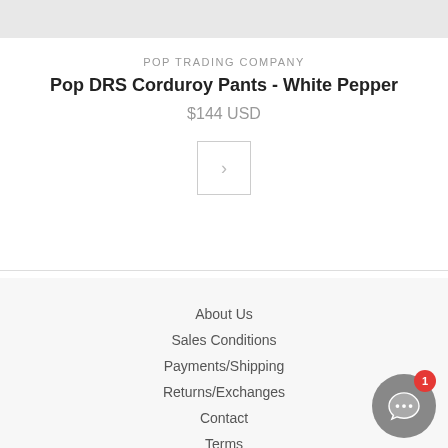[Figure (photo): Gray product image banner at the top of the page]
POP TRADING COMPANY
Pop DRS Corduroy Pants - White Pepper
$144 USD
[Figure (other): Navigation button with right arrow chevron]
About Us
Sales Conditions
Payments/Shipping
Returns/Exchanges
Contact
Terms
Privacy